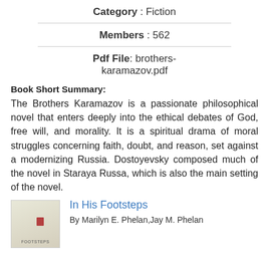Category : Fiction
Members : 562
Pdf File: brothers-karamazov.pdf
Book Short Summary:
The Brothers Karamazov is a passionate philosophical novel that enters deeply into the ethical debates of God, free will, and morality. It is a spiritual drama of moral struggles concerning faith, doubt, and reason, set against a modernizing Russia. Dostoyevsky composed much of the novel in Staraya Russa, which is also the main setting of the novel.
In His Footsteps
By Marilyn E. Phelan,Jay M. Phelan